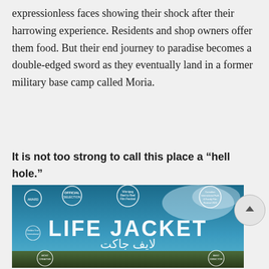expressionless faces showing their shock after their harrowing experience. Residents and shop owners offer them food. But their end journey to paradise becomes a double-edged sword as they eventually land in a former military base camp called Moria.
It is not too strong to call this place a “hell hole.”
[Figure (photo): Movie poster for 'Life Jacket' (لایف جاکت) showing the film title in large letters with laurel wreath award badges including Official Selection, Winnipeg Real to Reel Film Festival, Canadian International Faith & Family Film Festival 2020, Most Creative, Best Director. Background shows a dramatic sky and landscape.]